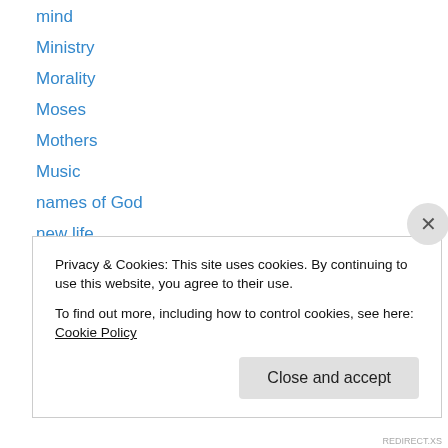mind
Ministry
Morality
Moses
Mothers
Music
names of God
new life
New Testament
Noah
Numbers
obedience
Old Testament
Privacy & Cookies: This site uses cookies. By continuing to use this website, you agree to their use.
To find out more, including how to control cookies, see here: Cookie Policy
Close and accept